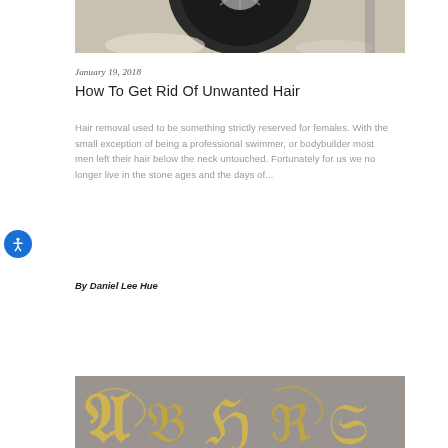[Figure (photo): Cropped photo showing bottom portion of a motorcycle wheel on a concrete floor]
January 19, 2018
How To Get Rid Of Unwanted Hair
Hair removal used to be something strictly reserved for females. With the small exception of being a professional swimmer, or bodybuilder most men left their hair below the neck untouched. Fortunately for us we no longer live in the stone ages and the days of...
By Daniel Lee Hue
[Figure (photo): Partial photo showing decorative golden signage or lettering on a grey background]